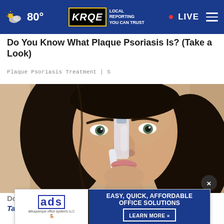80° KRQE LOCAL REPORTING YOU CAN TRUST · LIVE
Do You Know What Plaque Psoriasis Is? (Take a Look)
Plaque Psoriasis Treatment | S
[Figure (photo): Close-up photo of a woman applying something to her nose with a toothbrush]
Do T
Tags: Its Genius
[Figure (other): Advertisement banner: AOS Albuquerque Office Systems LLC - EASY, QUICK, AFFORDABLE OFFICE SOLUTIONS LEARN MORE]